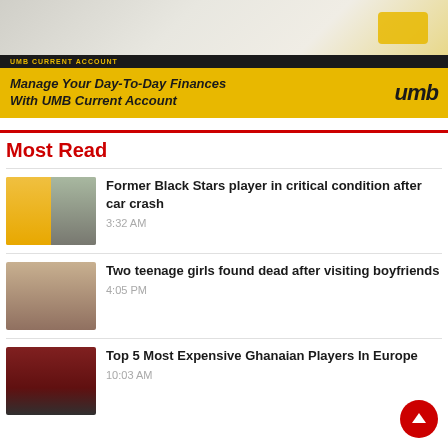[Figure (photo): UMB Current Account advertisement banner with laptop and yellow card photo on top, black bar with 'UMB CURRENT ACCOUNT' text, yellow section with bold italic text 'Manage Your Day-To-Day Finances With UMB Current Account' and UMB logo]
Most Read
[Figure (photo): Thumbnail showing a man in yellow jersey on the left and a car crash scene on the right]
Former Black Stars player in critical condition after car crash
3:32 AM
[Figure (photo): Thumbnail showing a young teenage girl's face]
Two teenage girls found dead after visiting boyfriends
4:05 PM
[Figure (photo): Thumbnail showing three football players in red and white jerseys]
Top 5 Most Expensive Ghanaian Players In Europe
10:03 AM